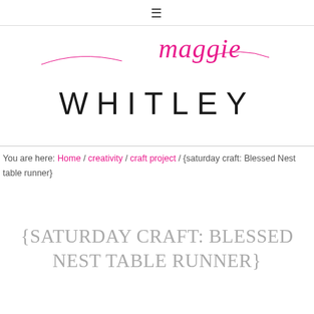≡
[Figure (logo): Maggie Whitley blog logo with 'maggie' in pink cursive script above 'WHITLEY' in large sans-serif uppercase letters]
You are here: Home / creativity / craft project / {saturday craft: Blessed Nest table runner}
{SATURDAY CRAFT: BLESSED NEST TABLE RUNNER}